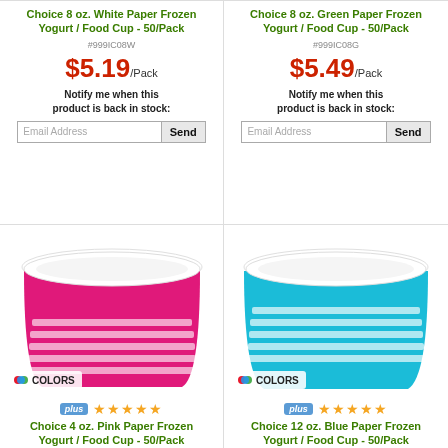Choice 8 oz. White Paper Frozen Yogurt / Food Cup - 50/Pack
#999IC08W
$5.19/Pack
Notify me when this product is back in stock:
Choice 8 oz. Green Paper Frozen Yogurt / Food Cup - 50/Pack
#999IC08G
$5.49/Pack
Notify me when this product is back in stock:
[Figure (photo): Pink striped paper frozen yogurt cup with white horizontal stripes and COLORS badge]
Choice 4 oz. Pink Paper Frozen Yogurt / Food Cup - 50/Pack
[Figure (photo): Blue striped paper frozen yogurt cup with white horizontal stripes and COLORS badge]
Choice 12 oz. Blue Paper Frozen Yogurt / Food Cup - 50/Pack